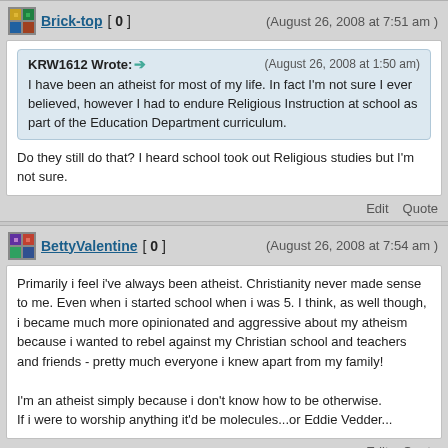Brick-top [ 0 ] (August 26, 2008 at 7:51 am )
KRW1612 Wrote: (August 26, 2008 at 1:50 am)
I have been an atheist for most of my life. In fact I'm not sure I ever believed, however I had to endure Religious Instruction at school as part of the Education Department curriculum.
Do they still do that? I heard school took out Religious studies but I'm not sure.
BettyValentine [ 0 ] (August 26, 2008 at 7:54 am )
Primarily i feel i've always been atheist. Christianity never made sense to me. Even when i started school when i was 5. I think, as well though, i became much more opinionated and aggressive about my atheism because i wanted to rebel against my Christian school and teachers and friends - pretty much everyone i knew apart from my family!

I'm an atheist simply because i don't know how to be otherwise.
If i were to worship anything it'd be molecules...or Eddie Vedder...